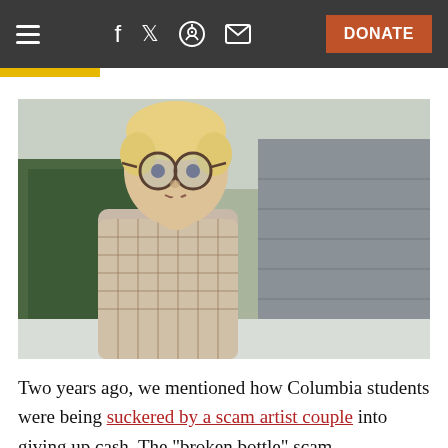≡   f   🐦   👽   ✉   DONATE
[Figure (photo): A young boy wearing large round glasses, dressed in a patterned sweater, resting his chin on his hand with a thoughtful or concerned expression, standing outdoors near a green door and stone wall in winter.]
Two years ago, we mentioned how Columbia students were being suckered by a scam artist couple into giving up cash. The "broken bottle" scam